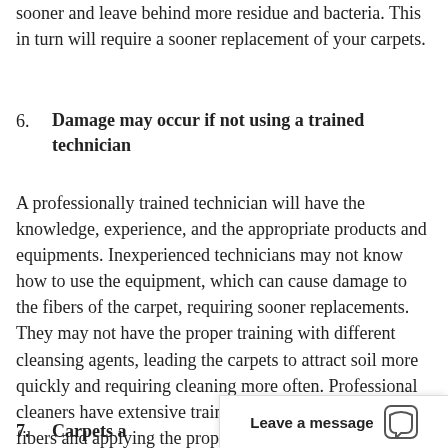sooner and leave behind more residue and bacteria. This in turn will require a sooner replacement of your carpets.
6. Damage may occur if not using a trained technician
A professionally trained technician will have the knowledge, experience, and the appropriate products and equipments. Inexperienced technicians may not know how to use the equipment, which can cause damage to the fibers of the carpet, requiring sooner replacements. They may not have the proper training with different cleansing agents, leading the carpets to attract soil more quickly and requiring cleaning more often. Professional cleaners have extensive training on identifying different fibers and applying the proper treatment methods.
7. Carpets a
Leave a message